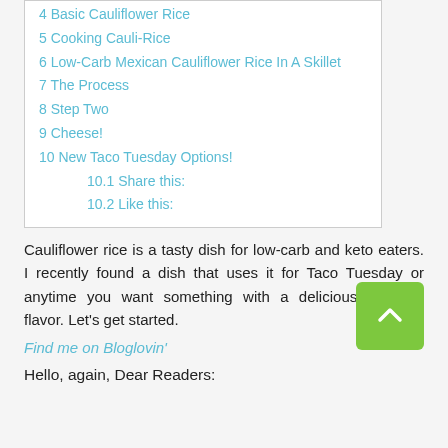4 Basic Cauliflower Rice
5 Cooking Cauli-Rice
6 Low-Carb Mexican Cauliflower Rice In A Skillet
7 The Process
8 Step Two
9 Cheese!
10 New Taco Tuesday Options!
10.1 Share this:
10.2 Like this:
Cauliflower rice is a tasty dish for low-carb and keto eaters. I recently found a dish that uses it for Taco Tuesday or anytime you want something with a delicious Tex-Mex flavor. Let’s get started.
Find me on Bloglovin’
Hello, again, Dear Readers: